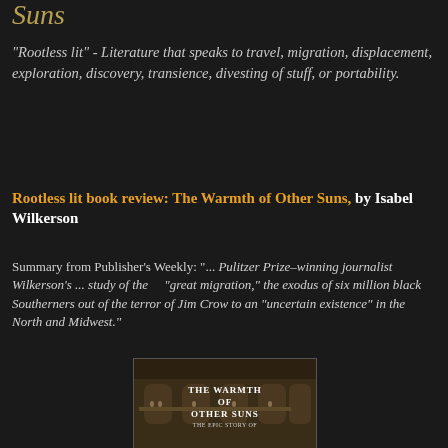Suns
"Rootless lit" - Literature that speaks to travel, migration, displacement, exploration, discovery, transience, divesting of stuff, or portability.
Rootless lit book review: The Warmth of Other Suns, by Isabel Wilkerson
Summary from Publisher's Weekly: "... Pulitzer Prize–winning journalist Wilkerson's ... study of the "great migration," the exodus of six million black Southerners out of the terror of Jim Crow to an "uncertain existence" in the North and Midwest."
[Figure (photo): Book cover of 'The Warmth of Other Suns' by Isabel Wilkerson showing an old building with people on balconies, with the title text overlaid in white]